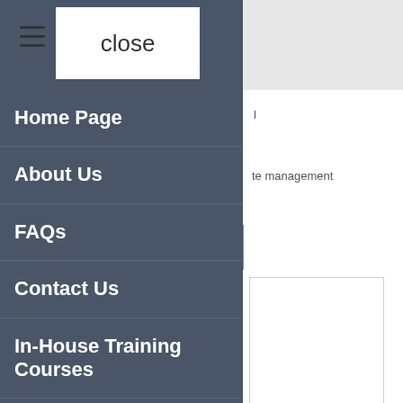[Figure (screenshot): Navigation overlay menu with hamburger icon and close button at top, showing menu items: Home Page, About Us, FAQs, Contact Us, In-House Training Courses, Other Shaw Trust Services on a dark slate-blue background]
Home Page
About Us
FAQs
Contact Us
In-House Training Courses
Other Shaw Trust Services
te management
rvices. By using use of cookies.
rce of
tise
support benefits pupils